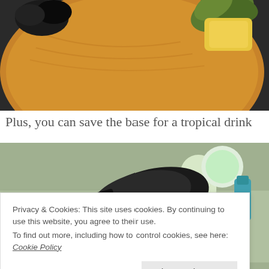[Figure (photo): Close-up photo of a round wooden cutting board with pineapple top and other tropical fruit pieces on a dark surface]
Plus, you can save the base for a tropical drink
[Figure (photo): Photo of a kitchen scene with a black can opener, pineapple plant, and various items on a counter]
Privacy & Cookies: This site uses cookies. By continuing to use this website, you agree to their use.
To find out more, including how to control cookies, see here: Cookie Policy
Close and accept